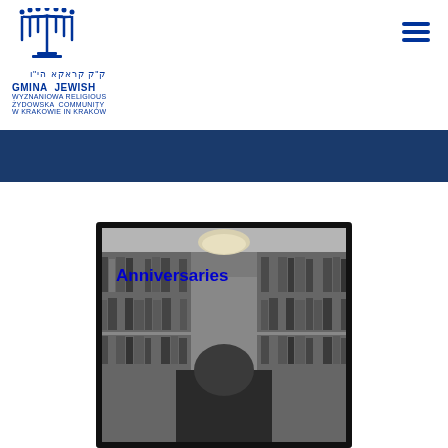[Figure (logo): Menorah logo with Hebrew text and 'GMINA JEWISH / WYZNANIOWA RELIGIOUS / ŻYDOWSKA COMMUNITY / W KRAKOWIE IN KRAKÓW' text in blue]
Anniversaries
[Figure (photo): Black and white photograph of a bearded man standing in a library/study surrounded by bookshelves, with a lamp overhead]